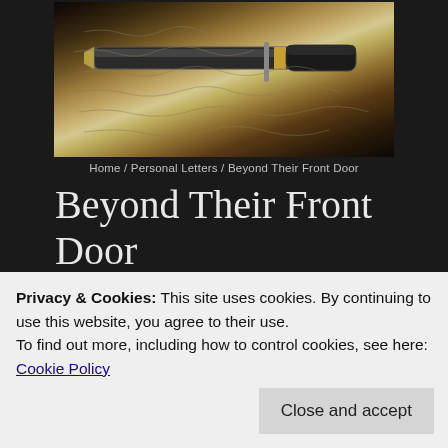[Figure (photo): Close-up photograph of a fountain pen resting on handwritten cursive text on paper, with dark background.]
Home / Personal Letters / Beyond Their Front Door
Beyond Their Front Door
27th October 2017   Adam   Personal Letters
Privacy & Cookies: This site uses cookies. By continuing to use this website, you agree to their use.
To find out more, including how to control cookies, see here: Cookie Policy
Close and accept